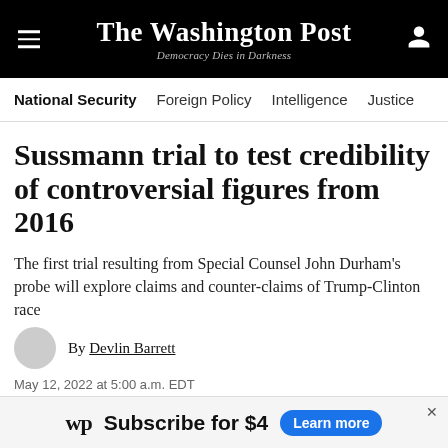The Washington Post — Democracy Dies in Darkness
National Security | Foreign Policy | Intelligence | Justice
Sussmann trial to test credibility of controversial figures from 2016
The first trial resulting from Special Counsel John Durham's probe will explore claims and counter-claims of Trump-Clinton race
By Devlin Barrett
May 12, 2022 at 5:00 a.m. EDT
[Figure (photo): Article image placeholder (broken image icon)]
wp Subscribe for $4 Learn more